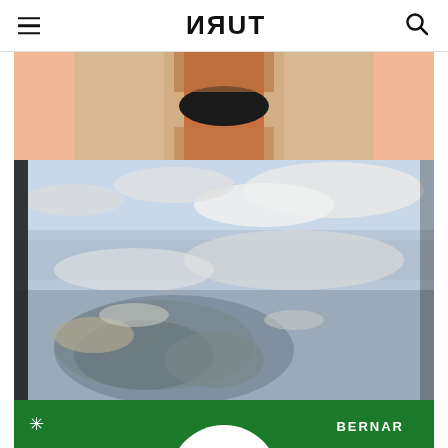TURN (mirrored logo with hamburger menu and search icon)
[Figure (photo): Cropped fashion photo showing a person's torso wearing a black bra with an open beige/tan jacket, on a salmon/peach background]
[Figure (photo): Aerial photograph taken from high altitude showing an island or landmass below with cloud cover and blue-grey sky/water, viewed from an airplane]
[Figure (photo): Partial view of a green promotional banner with a white star/asterisk on the left, partial white circle in the center-bottom, and 'BERNAP' text on the right in white bold letters]